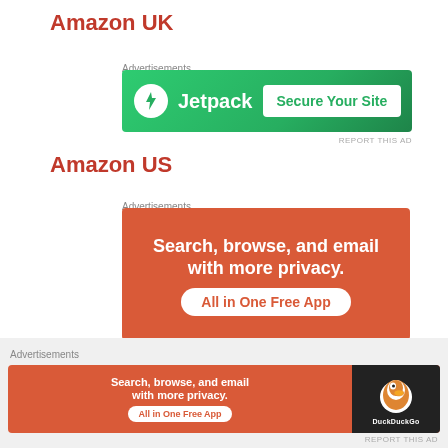Amazon UK
Advertisements
[Figure (screenshot): Jetpack advertisement banner: green background, Jetpack logo with lightning bolt, text 'Jetpack', button 'Secure Your Site']
REPORT THIS AD
Amazon US
Advertisements
[Figure (screenshot): DuckDuckGo advertisement: orange/red background, white bold text 'Search, browse, and email with more privacy.', white pill button 'All in One Free App', phone bottom portion visible]
Advertisements
[Figure (screenshot): DuckDuckGo bottom banner ad: orange left with white text 'Search, browse, and email with more privacy.' and 'All in One Free App' button, dark right side with DuckDuckGo duck logo and text]
REPORT THIS AD